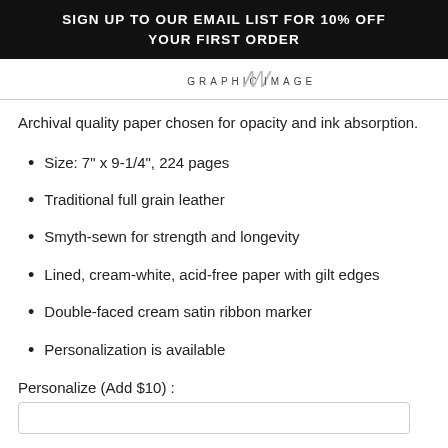SIGN UP TO OUR EMAIL LIST FOR 10% OFF YOUR FIRST ORDER
[Figure (logo): Graphic Image logo with stylized 'GI' monogram]
Archival quality paper chosen for opacity and ink absorption.
Size: 7" x 9-1/4", 224 pages
Traditional full grain leather
Smyth-sewn for strength and longevity
Lined, cream-white, acid-free paper with gilt edges
Double-faced cream satin ribbon marker
Personalization is available
Personalize (Add $10) :